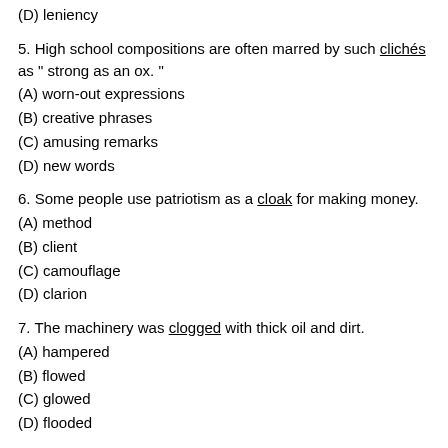(D) leniency
5. High school compositions are often marred by such clichés as " strong as an ox. "
(A) worn-out expressions
(B) creative phrases
(C) amusing remarks
(D) new words
6. Some people use patriotism as a cloak for making money.
(A) method
(B) client
(C) camouflage
(D) clarion
7. The machinery was clogged with thick oil and dirt.
(A) hampered
(B) flowed
(C) glowed
(D) flooded
8. The playboy was cloyed with pleasure.